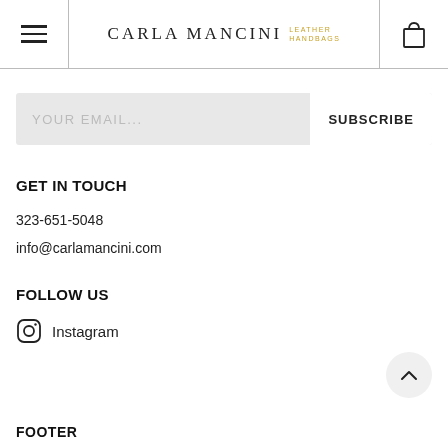Carla Mancini Leather Handbags
YOUR EMAIL... SUBSCRIBE
GET IN TOUCH
323-651-5048
info@carlamancini.com
FOLLOW US
Instagram
FOOTER